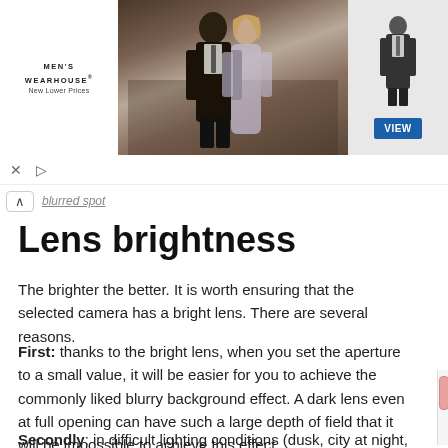[Figure (screenshot): Men's Wearhouse advertisement banner showing a couple in formalwear and a man in a suit, with a VIEW button]
Lens brightness
The brighter the better. It is worth ensuring that the selected camera has a bright lens. There are several reasons.
First: thanks to the bright lens, when you set the aperture to a small value, it will be easier for you to achieve the commonly liked blurry background effect. A dark lens even at full opening can have such a large depth of field that it will be impossible to achieve this effect.
Secondly: in difficult lighting conditions (dusk, city at night, artificial lighting), the bright lens will allow